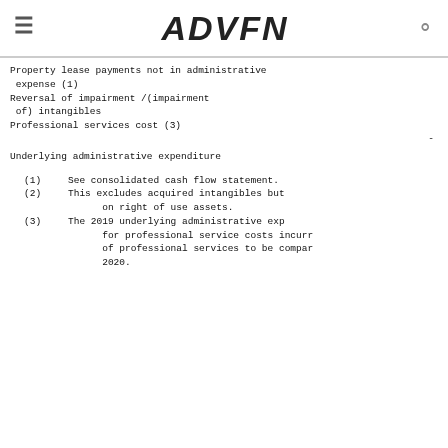ADVFN
Property lease payments not in administrative expense (1)
Reversal of impairment /(impairment of) intangibles
Professional services cost (3)
-
Underlying administrative expenditure
(1)   See consolidated cash flow statement.
(2)   This excludes acquired intangibles but on right of use assets.
(3)   The 2019 underlying administrative exp for professional service costs incurr of professional services to be compar 2020.